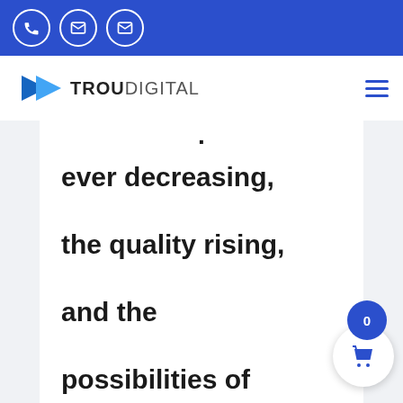Top bar with phone and email icons
[Figure (logo): TrouDigital logo with blue play button arrow icon and text TROUDIGITAL]
· ever decreasing, the quality rising, and the possibilities of sharing content